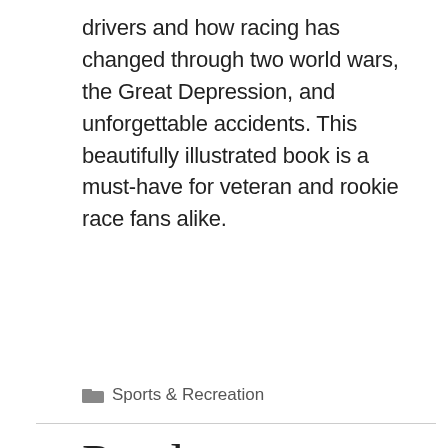drivers and how racing has changed through two world wars, the Great Depression, and unforgettable accidents. This beautifully illustrated book is a must-have for veteran and rookie race fans alike.
Sports & Recreation
Pearls
Donna Nabors  2013-04-22
[Figure (photo): Book cover for 'Pearls' by Donna Nabors showing a dark background with a pearl or shell object]
Start your day with prayer. It's like a race. The announcer says, "Gentlemen, start your